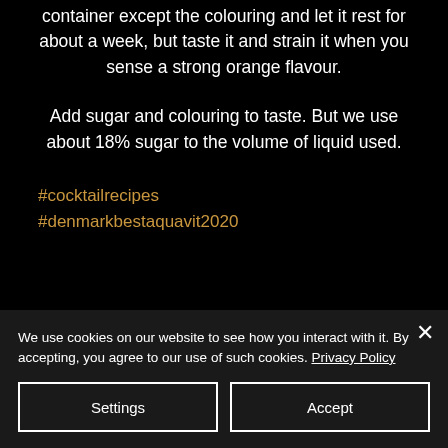container except the colouring and let it rest for about a week, but taste it and strain it when you sense a strong orange flavour.
Add sugar and colouring to taste. But we use about 18% sugar to the volume of liquid used.
#cocktailrecipes
#denmarkbestaquavit2020
We use cookies on our website to see how you interact with it. By accepting, you agree to our use of such cookies. Privacy Policy
Settings
Accept